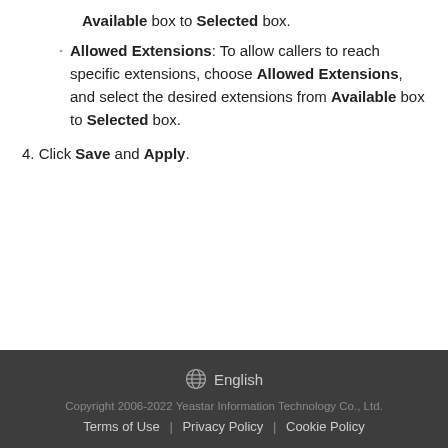Available box to Selected box.
Allowed Extensions: To allow callers to reach specific extensions, choose Allowed Extensions, and select the desired extensions from Available box to Selected box.
4. Click Save and Apply.
English
Copyright 2006-2022 Yeastar Information Technology Co., Ltd.
Terms of Use | Privacy Policy | Cookie Policy